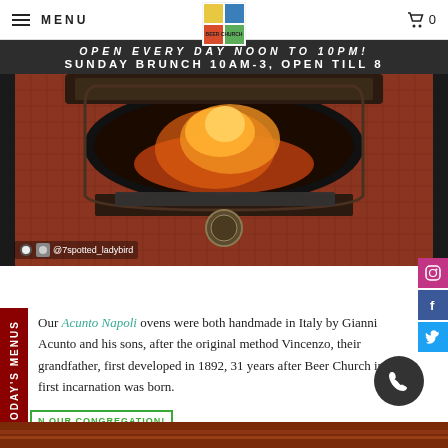MENU
OPEN EVERY DAY NOON TO 10PM! SUNDAY BRUNCH 10AM-3, OPEN TILL 8
[Figure (photo): Wood-fired pizza oven with flames visible inside, tiled exterior, @7spotted_ladybird watermark]
Our Acunto Napoli ovens were both handmade in Italy by Gianni Acunto and his sons, after the original method Vincenzo, their grandfather, first developed in 1892, 31 years after Beer Church in its first incarnation was born.
TODAY'S MENUS
N OUR CONGREGATION!